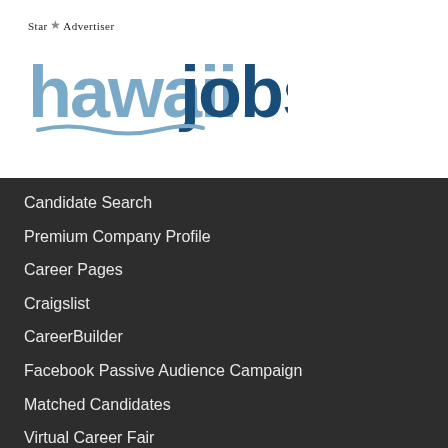[Figure (logo): Star Advertiser Hawaii Jobs logo with 'hawaiijobs' text in blue/grey tones and wave graphic]
Candidate Search
Premium Company Profile
Career Pages
Craigslist
CareerBuilder
Facebook Passive Audience Campaign
Matched Candidates
Virtual Career Fair
My Job Board
Targeted Audience Networks
College